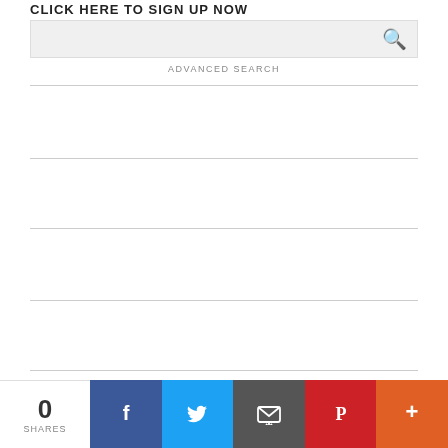CLICK HERE TO SIGN UP NOW
ADVANCED SEARCH
HOME   CONTACT US   ADVERTISING   SUBSCRIBER SERVICES   CAREERS   TERMS OF SERVICE
0 SHARES
[Figure (infographic): Social sharing bar with Facebook, Twitter, Email, Pinterest, and More buttons]